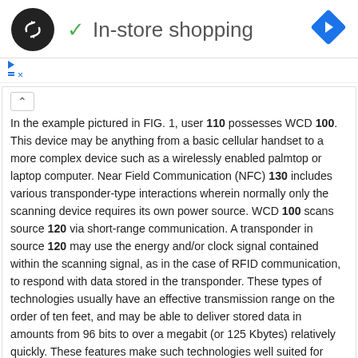[Figure (logo): Black circle logo with double arrow symbol, checkmark with 'In-store shopping' text, and blue diamond navigation arrow on the right]
In the example pictured in FIG. 1, user 110 possesses WCD 100. This device may be anything from a basic cellular handset to a more complex device such as a wirelessly enabled palmtop or laptop computer. Near Field Communication (NFC) 130 includes various transponder-type interactions wherein normally only the scanning device requires its own power source. WCD 100 scans source 120 via short-range communication. A transponder in source 120 may use the energy and/or clock signal contained within the scanning signal, as in the case of RFID communication, to respond with data stored in the transponder. These types of technologies usually have an effective transmission range on the order of ten feet, and may be able to deliver stored data in amounts from 96 bits to over a megabit (or 125 Kbytes) relatively quickly. These features make such technologies well suited for identification purposes, such as to receive an account number for a public transportation provider, a key code for an automatic electronic door lock, an account number for a credit or debit transaction, etc.
The transmission range between two devices may be extended if both devices are capable of performing powered communication. Short range